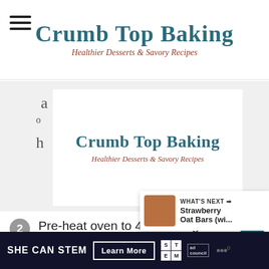Crumb Top Baking — Healthier Desserts & Savory Recipes
[Figure (screenshot): Sticky/repeated site logo bar showing 'Crumb Top Baking' title and 'Healthier Desserts & Savory Recipes' tagline over gray background, with partial letters 'a', 'o', 'h' and number '6' visible]
2 Pre-heat oven to 425F and grease a 12-cup muffin pan.
3 To the bowl of soaked oats, add the mashed bananas, egg, oil and honey. Whisk until combined. Add in the flour,
[Figure (screenshot): What's Next callout: thumbnail image of baked goods beside 'WHAT'S NEXT → Strawberry Oat Bars (wi...']
SHE CAN STEM  Learn More  [STEM logo] [Ad Council logo]